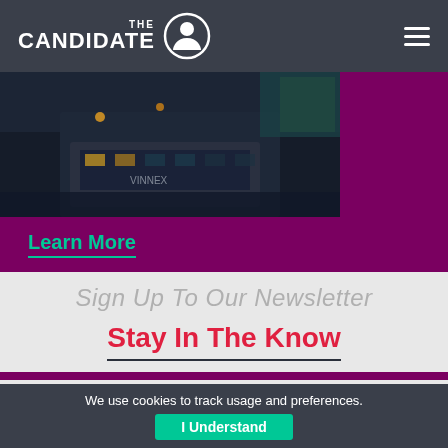THE CANDIDATE
[Figure (photo): Dark nighttime street scene with bus and lights, cropped photo on purple background]
Learn More
Sign Up To Our Newsletter
Stay In The Know
We use cookies to track usage and preferences.
I Understand